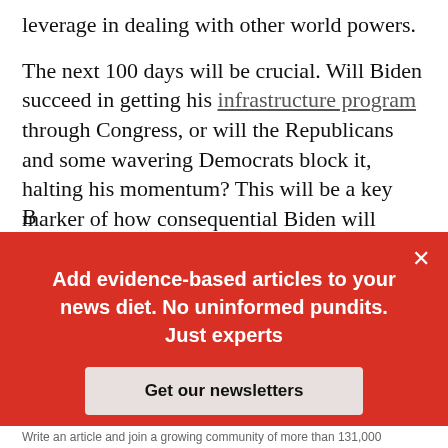leverage in dealing with other world powers.
The next 100 days will be crucial. Will Biden succeed in getting his infrastructure program through Congress, or will the Republicans and some wavering Democrats block it, halting his momentum? This will be a key marker of how consequential Biden will ultimately be as president.
[Figure (other): Red modal overlay with white text reading 'Add evidence-based articles to your news diet. No uninformed pundits. Just experts' and a button 'Get our newsletters' and a close X button in top right corner.]
Write an article and join a growing community of more than 131,000